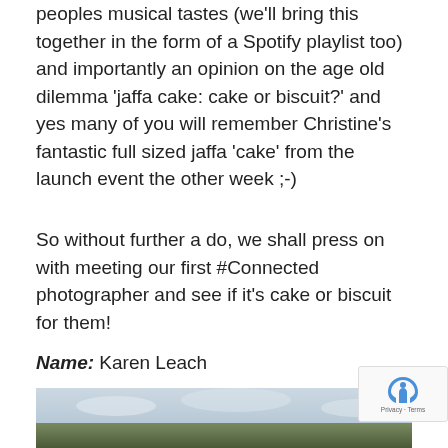peoples musical tastes (we'll bring this together in the form of a Spotify playlist too) and importantly an opinion on the age old dilemma 'jaffa cake: cake or biscuit?' and yes many of you will remember Christine's fantastic full sized jaffa 'cake' from the launch event the other week ;-)
So without further a do, we shall press on with meeting our first #Connected photographer and see if it's cake or biscuit for them!
Name: Karen Leach
[Figure (photo): Partial photograph showing a person outdoors with sky and green landscape in the background]